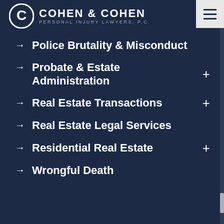Cohen & Cohen Personal Injury Lawyers, P.C.
→ Police Brutality & Misconduct
→ Probate & Estate Administration
→ Real Estate Transactions
→ Real Estate Legal Services
→ Residential Real Estate
→ Wrongful Death